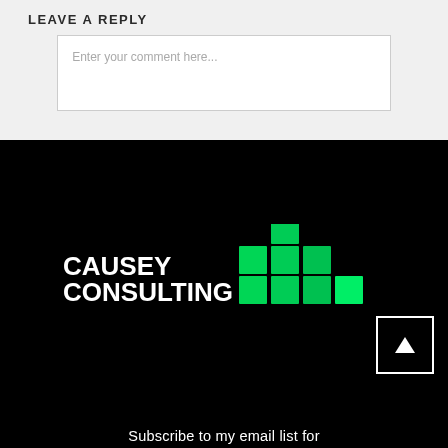LEAVE A REPLY
Enter your comment here...
[Figure (logo): Causey Consulting logo with green pixel/bar chart graphic on black background, with a white-bordered scroll-up button]
Subscribe to my email list for